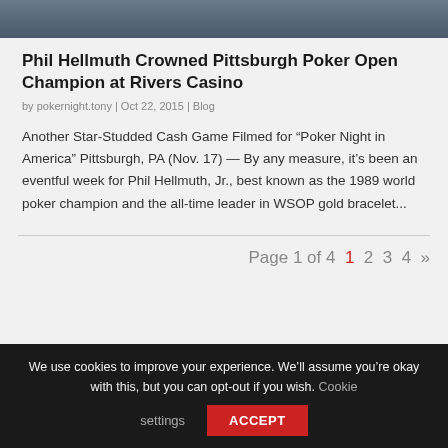[Figure (photo): Top portion of an image showing people at what appears to be a poker event]
Phil Hellmuth Crowned Pittsburgh Poker Open Champion at Rivers Casino
by pokernight.tony | Oct 22, 2015 | Blog
Another Star-Studded Cash Game Filmed for “Poker Night in America” Pittsburgh, PA (Nov. 17) — By any measure, it’s been an eventful week for Phil Hellmuth, Jr., best known as the 1989 world poker champion and the all-time leader in WSOP gold bracelet...
Page 1 of 4  1  2  3  4  »
We use cookies to improve your experience. We’ll assume you’re okay with this, but you can opt-out if you wish. Cookie settings  ACCEPT